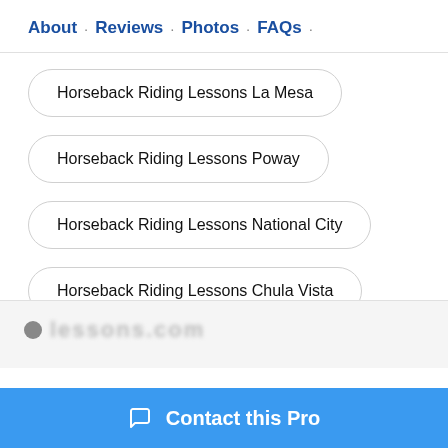About · Reviews · Photos · FAQs ·
Horseback Riding Lessons La Mesa
Horseback Riding Lessons Poway
Horseback Riding Lessons National City
Horseback Riding Lessons Chula Vista
[Figure (logo): Partially visible logo with blurred text at bottom of page]
Contact this Pro